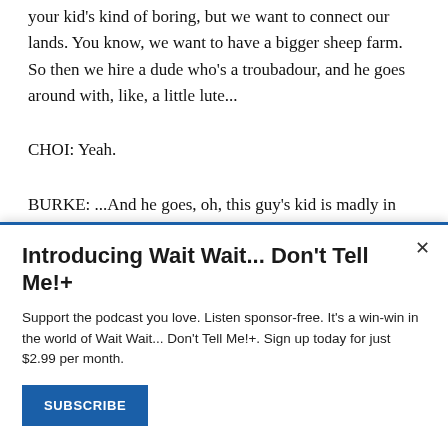your kid's kind of boring, but we want to connect our lands. You know, we want to have a bigger sheep farm. So then we hire a dude who's a troubadour, and he goes around with, like, a little lute...
CHOI: Yeah.
BURKE: ...And he goes, oh, this guy's kid is madly in love with your kid.
Introducing Wait Wait... Don't Tell Me!+
Support the podcast you love. Listen sponsor-free. It's a win-win in the world of Wait Wait... Don't Tell Me!+. Sign up today for just $2.99 per month.
SUBSCRIBE